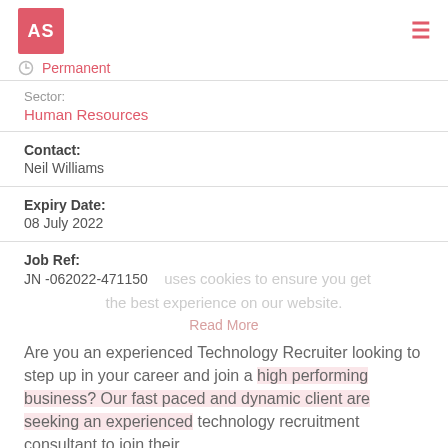[Figure (logo): AS logo box in red/pink with white letters, hamburger menu icon on right]
Permanent
Sector:
Human Resources
Contact:
Neil Williams
Expiry Date:
08 July 2022
Job Ref:
JN -062022-471150
Are you an experienced Technology Recruiter looking to step up in your career and join a high performing business? Our fast paced and dynamic client are seeking an experienced technology recruitment consultant to join their